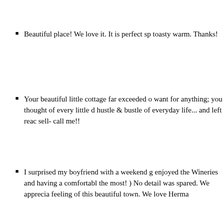Beautiful place! We love it. It is perfect sp... toasty warm. Thanks!
Your beautiful little cottage far exceeded o... want for anything; you thought of every little d... hustle & bustle of everyday life... and left reac... sell- call me!!
I surprised my boyfriend with a weekend g... enjoyed the Wineries and having a comfortabl... the most! ) No detail was spared. We apprecia... feeling of this beautiful town. We love Herma...